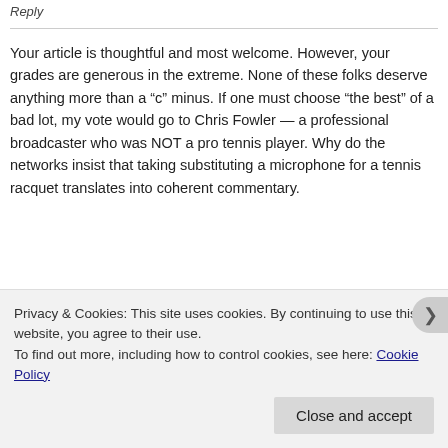Reply
Your article is thoughtful and most welcome. However, your grades are generous in the extreme. None of these folks deserve anything more than a “c” minus. If one must choose “the best” of a bad lot, my vote would go to Chris Fowler — a professional broadcaster who was NOT a pro tennis player. Why do the networks insist that taking substituting a microphone for a tennis racquet translates into coherent commentary.
TV tennis fans do have an alternative to all hyperbolic
Privacy & Cookies: This site uses cookies. By continuing to use this website, you agree to their use.
To find out more, including how to control cookies, see here: Cookie Policy
Close and accept